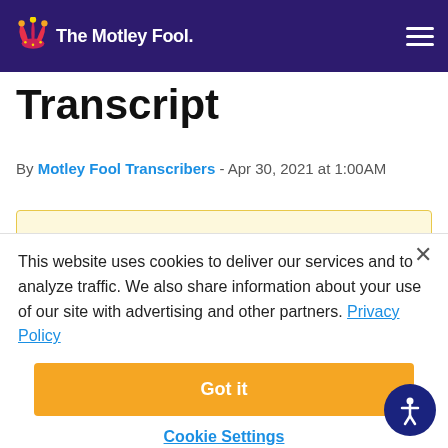The Motley Fool
Transcript
By Motley Fool Transcribers - Apr 30, 2021 at 1:00AM
You're reading a free article with opinions that may differ from The Motley Fool's Premium Investing Services. Become a Motley Fool member today to get instant
This website uses cookies to deliver our services and to analyze traffic. We also share information about your use of our site with advertising and other partners. Privacy Policy
Got it
Cookie Settings